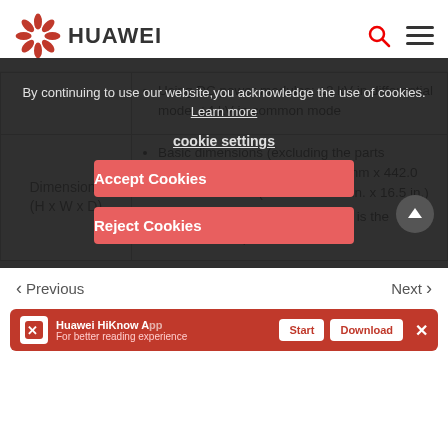HUAWEI
| Parameter | Description |
| --- | --- |
|  | Using DC power modules: ±2 kV in differential mode, ±4 kV in common mode |
| Dimensions (H x W x D) | Basic dimensions (excluding the parts protruding from the body): 43.6 mm x 442.0 mm x 420.0 mm (1.72 in. x 17.4 in. x 16.5 in.)
Maximum dimensions (the depth is the distance from ports on the front panel to ports on the rear panel): 43.6 mm x 442.0 mm x 448.0 mm (1.72 in. x 17.4 in. x 17.7 in.) |
By continuing to use our website, you acknowledge the use of cookies. Learn more
cookie settings
Accept Cookies
Reject Cookies
< Previous   Next >
Huawei HiKnow App
For better reading experience